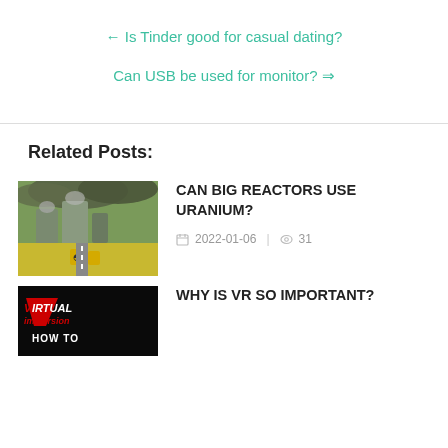← Is Tinder good for casual dating?
Can USB be used for monitor? ⇒
Related Posts:
CAN BIG REACTORS USE URANIUM?
2022-01-06   31
WHY IS VR SO IMPORTANT?